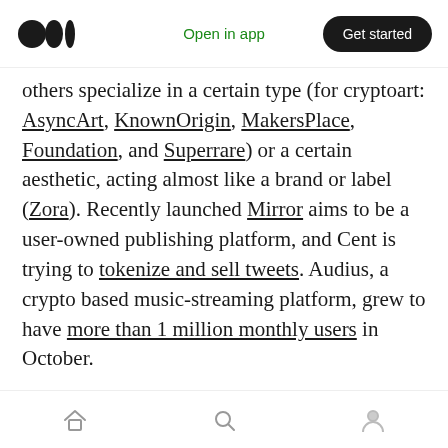Medium app header — Open in app | Get started
others specialize in a certain type (for cryptoart: AsyncArt, KnownOrigin, MakersPlace, Foundation, and Superrare) or a certain aesthetic, acting almost like a brand or label (Zora). Recently launched Mirror aims to be a user-owned publishing platform, and Cent is trying to tokenize and sell tweets. Audius, a crypto based music-streaming platform, grew to have more than 1 million monthly users in October.
For most of its history, the crypto space has been synonymous with money. But Ethereum's
Bottom navigation bar — Home, Search, Profile